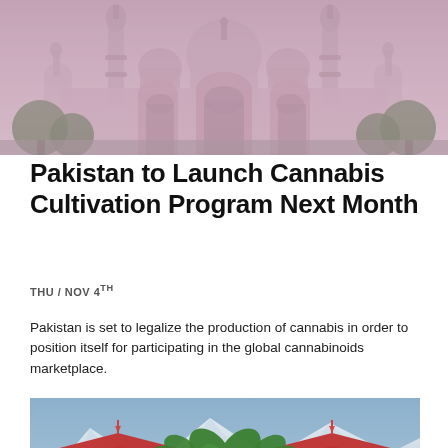[Figure (photo): Panoramic view of a large ornate Mughal-style mosque or monument in pink/mauve tones, with minarets and domes against a hazy sky, with trees in the foreground.]
Pakistan to Launch Cannabis Cultivation Program Next Month
THU / NOV 4TH
Pakistan is set to legalize the production of cannabis in order to position itself for participating in the global cannabinoids marketplace.
[Figure (photo): Traditional Asian temple buildings with ornate red roofs in the foreground, snowy mountain peaks in the background, and a large green cannabis leaf overlaid in the center.]